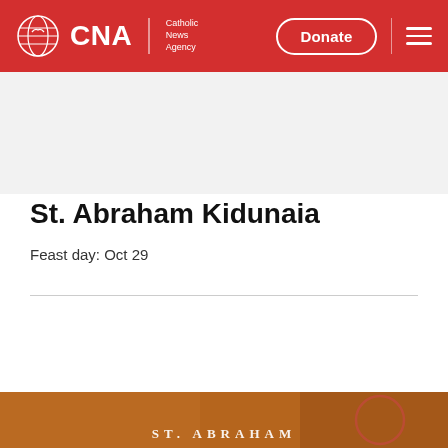CNA | Catholic News Agency — Donate
St. Abraham Kidunaia
Feast day: Oct 29
[Figure (photo): Partial view of an icon or painting of St. Abraham Kidunaia with text 'ST. ABRAHAM' visible at bottom]